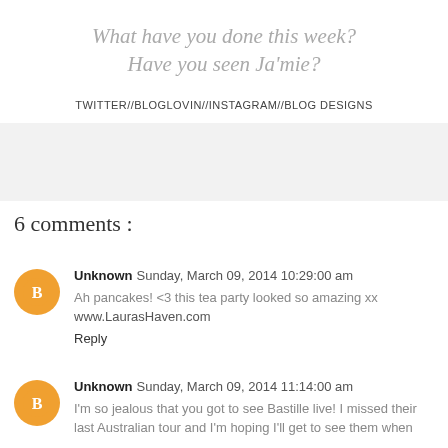What have you done this week? Have you seen Ja'mie?
TWITTER//BLOGLOVIN//INSTAGRAM//BLOG DESIGNS
[Figure (other): Gray placeholder/ad box]
6 comments :
Unknown Sunday, March 09, 2014 10:29:00 am
Ah pancakes! <3 this tea party looked so amazing xx
www.LaurasHaven.com
Reply
Unknown Sunday, March 09, 2014 11:14:00 am
I'm so jealous that you got to see Bastille live! I missed their last Australian tour and I'm hoping I'll get to see them when